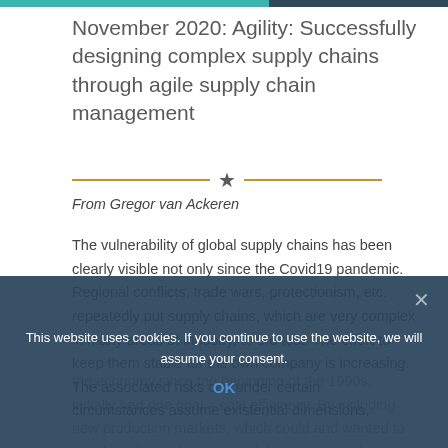November 2020: Agility: Successfully designing complex supply chains through agile supply chain management
From Gregor van Ackeren
The vulnerability of global supply chains has been clearly visible not only since the Covid19 pandemic. Regional conflicts, trade wars, protectionism, etc. repeatedly put supply chains, which are very complex in many areas of industry, to the test. The effort to keep them stable for the own company is increasing. The associated risks can under certain circumstances assume existential dimensions.
the economy since the beginning of the 1990s, initially had one goal – cost efficiency. By including new production markets, which could and wanted to supply at first at low cost and then in terms of capacity and increasingly also quality
This website uses cookies. If you continue to use the website, we will assume your consent.